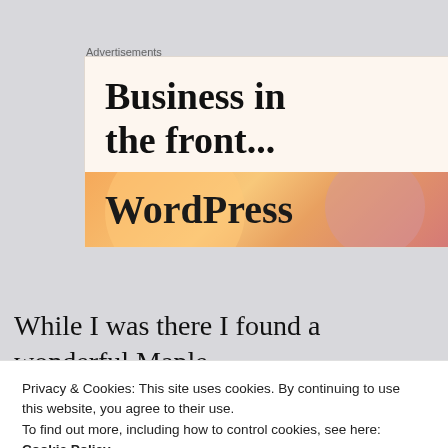Advertisements
[Figure (illustration): WordPress advertisement banner with text 'Business in the front...' on a cream background and 'WordPress' branding on an orange/peach gradient background with circular decorative elements]
While I was there I found a wonderful Maple
Privacy & Cookies: This site uses cookies. By continuing to use this website, you agree to their use.
To find out more, including how to control cookies, see here:
Cookie Policy
Close and accept